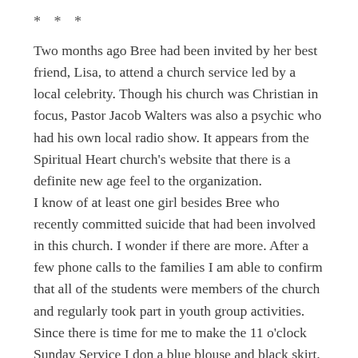* * *
Two months ago Bree had been invited by her best friend, Lisa, to attend a church service led by a local celebrity. Though his church was Christian in focus, Pastor Jacob Walters was also a psychic who had his own local radio show. It appears from the Spiritual Heart church's website that there is a definite new age feel to the organization.
I know of at least one girl besides Bree who recently committed suicide that had been involved in this church. I wonder if there are more. After a few phone calls to the families I am able to confirm that all of the students were members of the church and regularly took part in youth group activities.
Since there is time for me to make the 11 o'clock Sunday Service I don a blue blouse and black skirt. My